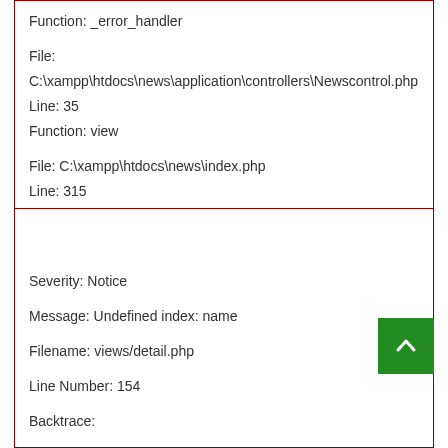Function: _error_handler

File:
C:\xampp\htdocs\news\application\controllers\Newscontrol.php
Line: 35
Function: view

File: C:\xampp\htdocs\news\index.php
Line: 315
Function: require_once
A PHP Error was encountered
Severity: Notice

Message: Undefined index: name

Filename: views/detail.php

Line Number: 154

Backtrace:

File: C:\xampp\htdocs\news\application\views\detail.php
Line: 154
Function: _error_handler